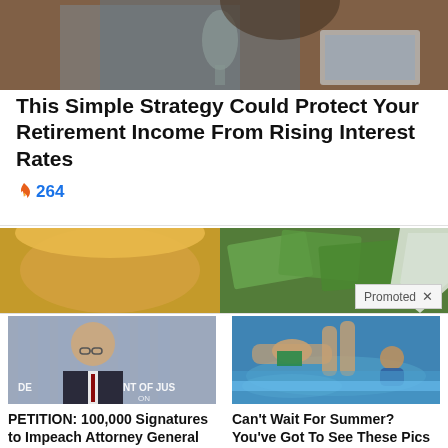[Figure (photo): Woman sitting at table holding wine glass with laptop in background]
This Simple Strategy Could Protect Your Retirement Income From Rising Interest Rates
🔥 264
[Figure (photo): Promoted banner image with portrait and currency, overlaid with Promoted badge and X close button]
[Figure (photo): Man in suit in front of Department of Justice sign - Merrick Garland]
PETITION: 100,000 Signatures to Impeach Attorney General Merrick Garland!
[Figure (photo): People in a pool, summer scene with yellow circle highlight]
Can't Wait For Summer? You've Got To See These Pics
🔥 129,604